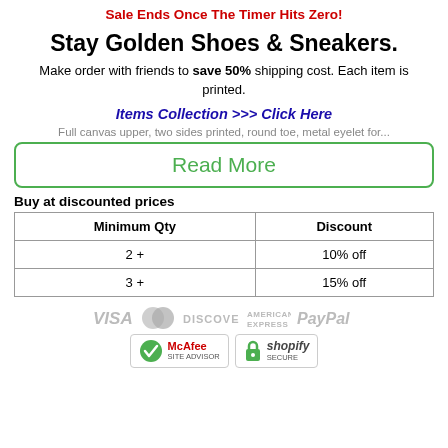Sale Ends Once The Timer Hits Zero!
Stay Golden Shoes & Sneakers.
Make order with friends to save 50% shipping cost. Each item is printed.
Items Collection >>> Click Here
Full canvas upper, two sides printed, round toe, metal eyelet for...
Read More
Buy at discounted prices
| Minimum Qty | Discount |
| --- | --- |
| 2 + | 10% off |
| 3 + | 15% off |
[Figure (logo): Payment logos: VISA, MasterCard, DISCOVER, AMERICAN EXPRESS, PayPal]
[Figure (logo): Security badges: McAfee Site Advisor and Shopify Secure]